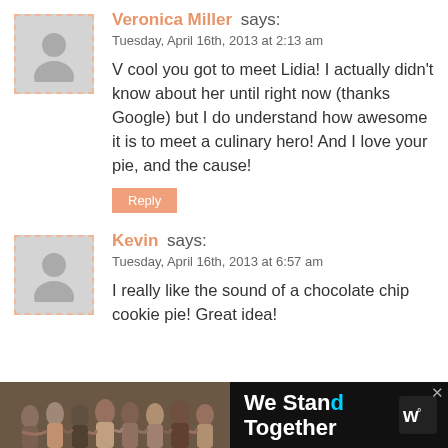Veronica Miller says:
Tuesday, April 16th, 2013 at 2:13 am

V cool you got to meet Lidia! I actually didn't know about her until right now (thanks Google) but I do understand how awesome it is to meet a culinary hero! And I love your pie, and the cause!
Reply
Kevin says:
Tuesday, April 16th, 2013 at 6:57 am

I really like the sound of a chocolate chip cookie pie! Great idea!
[Figure (photo): Advertisement banner: group of people with arms around each other, text 'We Stand Together' with a logo on dark background]